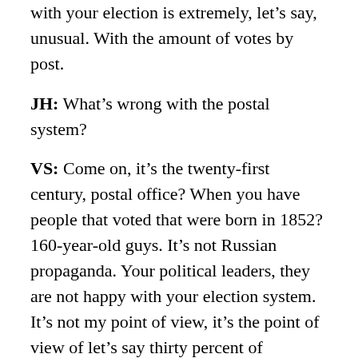with your election is extremely, let's say, unusual. With the amount of votes by post.
JH: What's wrong with the postal system?
VS: Come on, it's the twenty-first century, postal office? When you have people that voted that were born in 1852? 160-year-old guys. It's not Russian propaganda. Your political leaders, they are not happy with your election system. It's not my point of view, it's the point of view of let's say thirty percent of Americans. That they are not happy.
JH: What about the Pandora Papers, do you take them seriously?